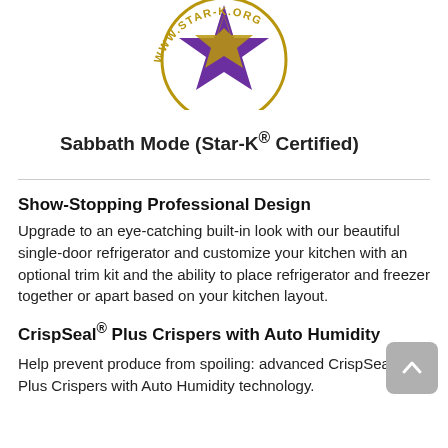[Figure (logo): Star-K kosher certification logo: a purple and gold star with text 'WWW.STAR-K.ORG' in a circular arrangement]
Sabbath Mode (Star-K® Certified)
Show-Stopping Professional Design
Upgrade to an eye-catching built-in look with our beautiful single-door refrigerator and customize your kitchen with an optional trim kit and the ability to place refrigerator and freezer together or apart based on your kitchen layout.
CrispSeal® Plus Crispers with Auto Humidity
Help prevent produce from spoiling: advanced CrispSeal® Plus Crispers with Auto Humidity technology.